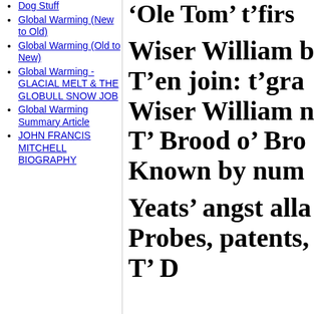Dog Stuff
Global Warming (New to Old)
Global Warming (Old to New)
Global Warming - GLACIAL MELT & THE GLOBULL SNOW JOB
Global Warming Summary Article
JOHN FRANCIS MITCHELL BIOGRAPHY
‘Ole Tom’ t’firs
Wiser William b
T’en join: t’gra
Wiser William n
T’ Brood o’ Bro
Known by num
Yeats’ angst alla
Probes, patents,
T' D...